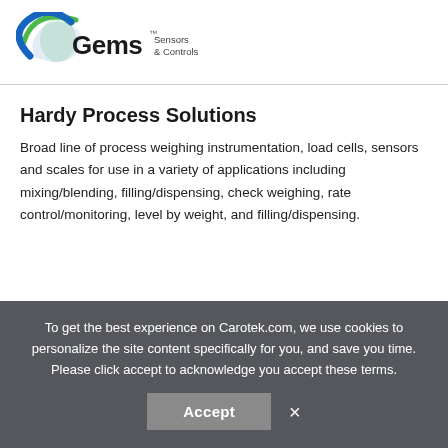[Figure (logo): Gems Sensors & Controls logo with blue and green swoosh graphic]
Hardy Process Solutions
Broad line of process weighing instrumentation, load cells, sensors and scales for use in a variety of applications including mixing/blending, filling/dispensing, check weighing, rate control/monitoring, level by weight, and filling/dispensing.
To get the best experience on Carotek.com, we use cookies to personalize the site content specifically for you, and save you time. Please click accept to acknowledge you accept these terms.